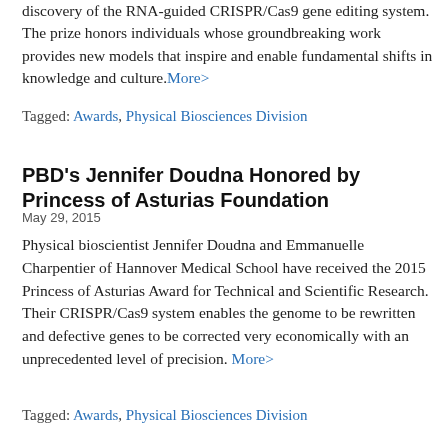discovery of the RNA-guided CRISPR/Cas9 gene editing system. The prize honors individuals whose groundbreaking work provides new models that inspire and enable fundamental shifts in knowledge and culture. More>
Tagged: Awards, Physical Biosciences Division
PBD's Jennifer Doudna Honored by Princess of Asturias Foundation
May 29, 2015
Physical bioscientist Jennifer Doudna and Emmanuelle Charpentier of Hannover Medical School have received the 2015 Princess of Asturias Award for Technical and Scientific Research. Their CRISPR/Cas9 system enables the genome to be rewritten and defective genes to be corrected very economically with an unprecedented level of precision. More>
Tagged: Awards, Physical Biosciences Division